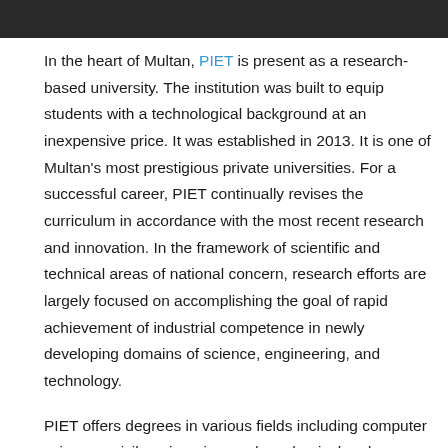[Figure (photo): Top portion of a photo showing what appears to be a university campus building, cropped to a dark bar at the top of the page.]
In the heart of Multan, PIET is present as a research-based university. The institution was built to equip students with a technological background at an inexpensive price. It was established in 2013. It is one of Multan's most prestigious private universities. For a successful career, PIET continually revises the curriculum in accordance with the most recent research and innovation. In the framework of scientific and technical areas of national concern, research efforts are largely focused on accomplishing the goal of rapid achievement of industrial competence in newly developing domains of science, engineering, and technology.
PIET offers degrees in various fields including computer sciences, civil engineering, and mechanical and chemical engineering. The civil, mechanical, electrical, and computer science labs are well-equipped representing the state-of-the-art. The university has enough space to provide high-quality